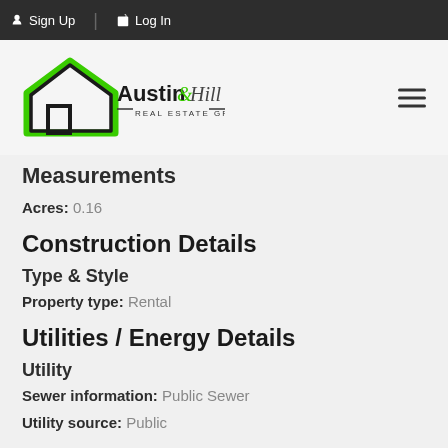Sign Up  Log In
[Figure (logo): Austin & Hill Country Real Estate Group logo with green house outline]
Measurements
Acres: 0.16
Construction Details
Type & Style
Property type: Rental
Utilities / Energy Details
Utility
Sewer information: Public Sewer
Utility source: Public